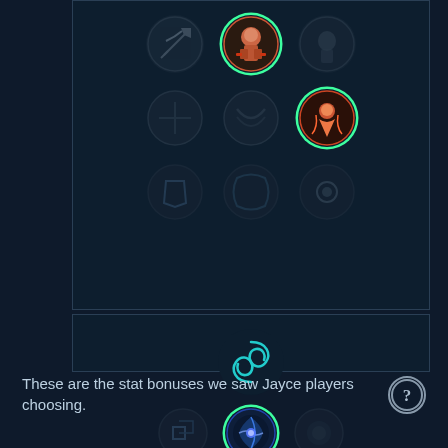[Figure (screenshot): League of Legends rune page selection UI showing two rune trees. Top section shows Precision tree with selected runes highlighted in green. Bottom section shows Sorcery tree with selected runes highlighted in green. Bottom row contains helper text: 'These are the stat bonuses we saw Jayce players choosing.' with a question mark icon.]
These are the stat bonuses we saw Jayce players choosing.